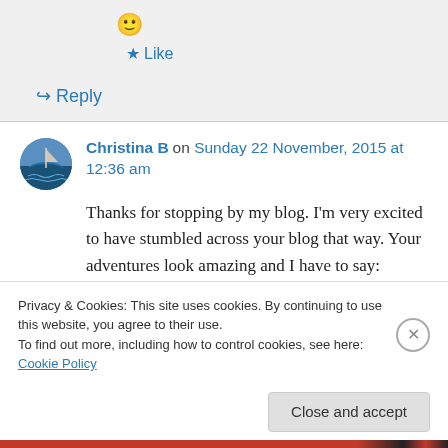[Figure (illustration): Smiley face emoji 🙂]
★ Like
↪ Reply
Christina B on Sunday 22 November, 2015 at 12:36 am
[Figure (photo): Avatar photo of Christina B, circular, showing a marina/boat scene]
Thanks for stopping by my blog. I'm very excited to have stumbled across your blog that way. Your adventures look amazing and I have to say:
Privacy & Cookies: This site uses cookies. By continuing to use this website, you agree to their use.
To find out more, including how to control cookies, see here: Cookie Policy
Close and accept